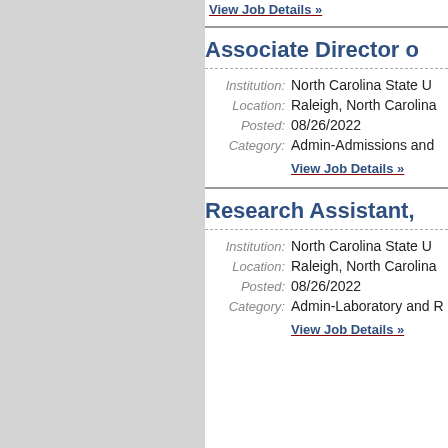View Job Details »
Associate Director o
Institution: North Carolina State U
Location: Raleigh, North Carolina
Posted: 08/26/2022
Category: Admin-Admissions and
View Job Details »
Research Assistant,
Institution: North Carolina State U
Location: Raleigh, North Carolina
Posted: 08/26/2022
Category: Admin-Laboratory and R
View Job Details »